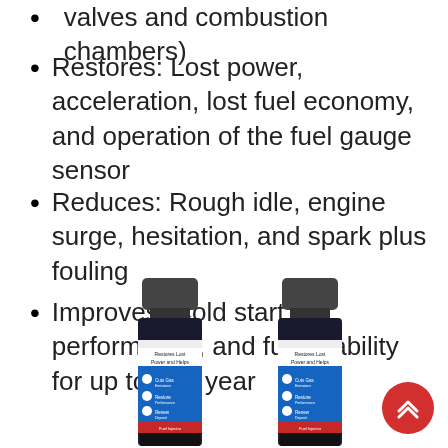valves and combustion chambers)
Restores: Lost power, acceleration, lost fuel economy, and operation of the fuel gauge sensor
Reduces: Rough idle, engine surge, hesitation, and spark plus fouling
Improves: Cold start performance, and fuel stability for up to one year
[Figure (photo): Two small bottles of fuel additive product with black caps and blue/red labels reading 'Restores Lost Power and Helps', with checkmark bullet points. A red scroll-to-top button is visible in the bottom-right corner.]